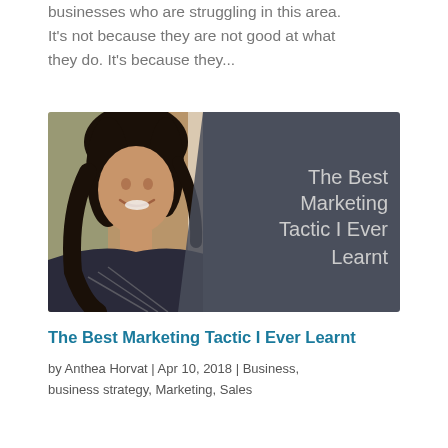businesses who are struggling in this area. It's not because they are not good at what they do. It's because they...
[Figure (photo): Blog post thumbnail showing a smiling dark-haired woman on the left half against an outdoor background, and on the right half a dark gray panel with white text reading 'The Best Marketing Tactic I Ever Learnt']
The Best Marketing Tactic I Ever Learnt
by Anthea Horvat | Apr 10, 2018 | Business, business strategy, Marketing, Sales